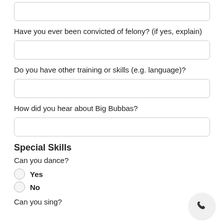(partially visible top text)
Have you ever been convicted of felony? (if yes, explain)
Do you have other training or skills (e.g. language)?
How did you hear about Big Bubbas?
Special Skills
Can you dance?
Yes
No
Can you sing?